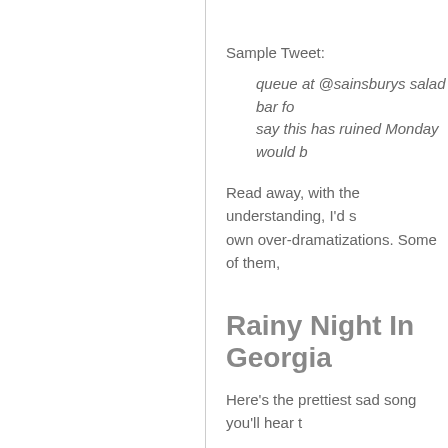Sample Tweet:
queue at @sainsburys salad bar fo... say this has ruined Monday would b...
Read away, with the understanding, I'd s... own over-dramatizations. Some of them,
Rainy Night In Georgia
Here's the prettiest sad song you'll hear t...
Tony Joe White wrote it and it became a... versions. This one is my fave. It makes f...
[Figure (other): Dark/black video embed thumbnail]